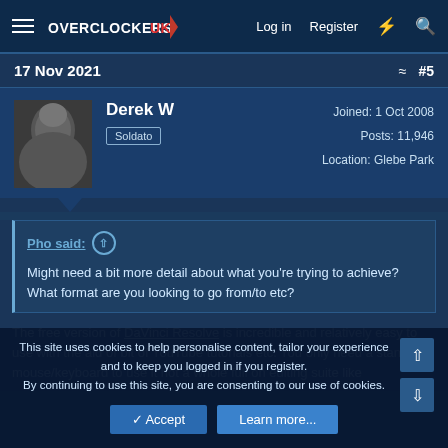OVERCLOCKERS UK — Log in  Register
17 Nov 2021   #5
Derek W
Soldato
Joined: 1 Oct 2008
Posts: 11,946
Location: Glebe Park
Pho said: ↑
Might need a bit more detail about what you're trying to achieve? What format are you looking to go from/to etc?
The free version of DaVinci Resolve is incredible and relatively easy to use with the aid of bit of YouTube tutorials etc. You only need a standard mouse/keyboard to use it not a whole full on editing suite like...
This site uses cookies to help personalise content, tailor your experience and to keep you logged in if you register.
By continuing to use this site, you are consenting to our use of cookies.
✓ Accept   Learn more...